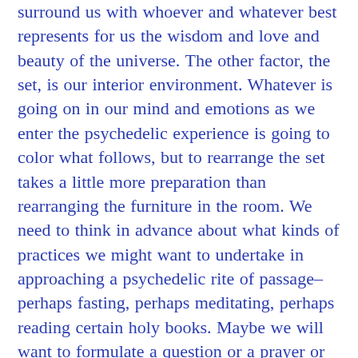surround us with whoever and whatever best represents for us the wisdom and love and beauty of the universe. The other factor, the set, is our interior environment. Whatever is going on in our mind and emotions as we enter the psychedelic experience is going to color what follows, but to rearrange the set takes a little more preparation than rearranging the furniture in the room. We need to think in advance about what kinds of practices we might want to undertake in approaching a psychedelic rite of passage–perhaps fasting, perhaps meditating, perhaps reading certain holy books. Maybe we will want to formulate a question or a prayer or an intention that we will carry with us. We can do whatever feels right to each of us, but it's a good idea to allow some time in advance for internal preparation.